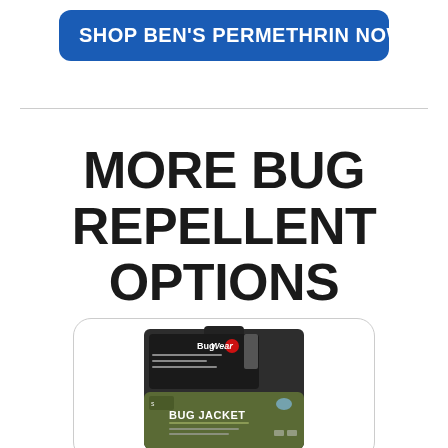[Figure (other): Blue rounded button with white bold text: SHOP BEN'S PERMETHRIN NOW]
MORE BUG REPELLENT OPTIONS
[Figure (photo): Product packaging for Sea to Summit BugWear Bug Jacket displayed in a rounded-corner card]